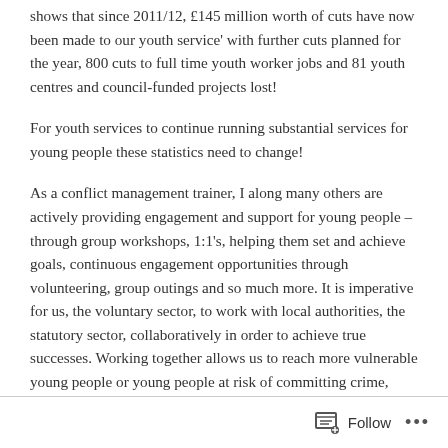shows that since 2011/12, £145 million worth of cuts have now been made to our youth service' with further cuts planned for the year, 800 cuts to full time youth worker jobs and 81 youth centres and council-funded projects lost!
For youth services to continue running substantial services for young people these statistics need to change!
As a conflict management trainer, I along many others are actively providing engagement and support for young people – through group workshops, 1:1's, helping them set and achieve goals, continuous engagement opportunities through volunteering, group outings and so much more. It is imperative for us, the voluntary sector, to work with local authorities, the statutory sector, collaboratively in order to achieve true successes. Working together allows us to reach more vulnerable young people or young people at risk of committing crime,
Follow